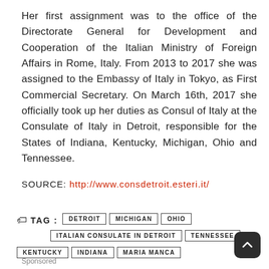Her first assignment was to the office of the Directorate General for Development and Cooperation of the Italian Ministry of Foreign Affairs in Rome, Italy. From 2013 to 2017 she was assigned to the Embassy of Italy in Tokyo, as First Commercial Secretary. On March 16th, 2017 she officially took up her duties as Consul of Italy at the Consulate of Italy in Detroit, responsible for the States of Indiana, Kentucky, Michigan, Ohio and Tennessee.
SOURCE: http://www.consdetroit.esteri.it/
TAG : DETROIT MICHIGAN OHIO ITALIAN CONSULATE IN DETROIT TENNESSEE KENTUCKY INDIANA MARIA MANCA
Sponsored